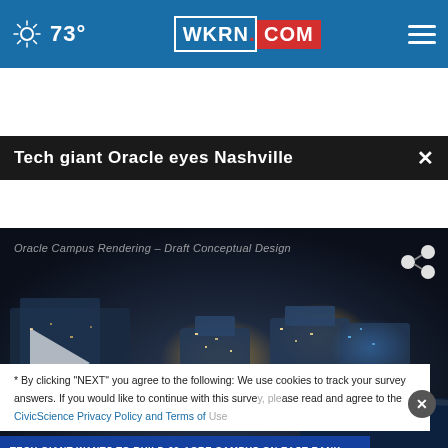73° WKRN.COM
Tech giant Oracle eyes Nashville
[Figure (screenshot): Aerial rendering of Oracle Campus – Draft Conceptual Design showing a large urban development near a river at night, with a play button overlay and lower-third graphics reading 'NASHVILLE 2021 / ORACLE EYES NASHVILLE / TECH GIANT WANTS TO BUILD 60-ACRE CAMPUS ON EAST BANK']
Oracle Campus Rendering – Draft Conceptual Design
* By clicking "NEXT" you agree to the following: We use cookies to track your survey answers. If you would like to continue with this survey, please read and agree to the CivicScience Privacy Policy and Terms of Use.
[Figure (infographic): Red advertisement banner: Get SAVEDBYTHESCAN.ORG – Ad Council – American Lung Association.]